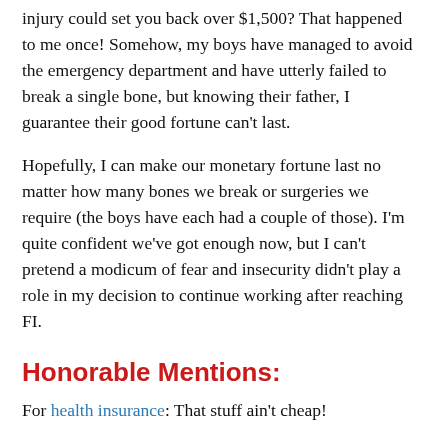injury could set you back over $1,500? That happened to me once! Somehow, my boys have managed to avoid the emergency department and have utterly failed to break a single bone, but knowing their father, I guarantee their good fortune can't last.
Hopefully, I can make our monetary fortune last no matter how many bones we break or surgeries we require (the boys have each had a couple of those). I'm quite confident we've got enough now, but I can't pretend a modicum of fear and insecurity didn't play a role in my decision to continue working after reaching FI.
Honorable Mentions:
For health insurance: That stuff ain't cheap!